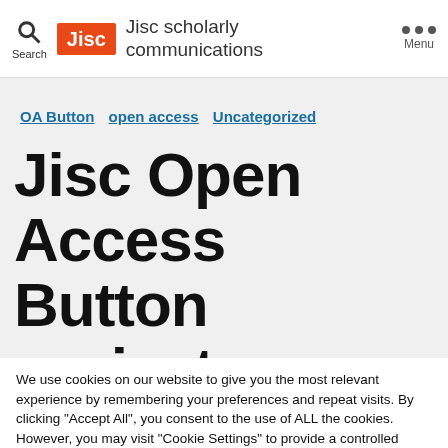Jisc scholarly communications
OA Button  open access  Uncategorized
Jisc Open Access Button project- our
We use cookies on our website to give you the most relevant experience by remembering your preferences and repeat visits. By clicking "Accept All", you consent to the use of ALL the cookies. However, you may visit "Cookie Settings" to provide a controlled consent.